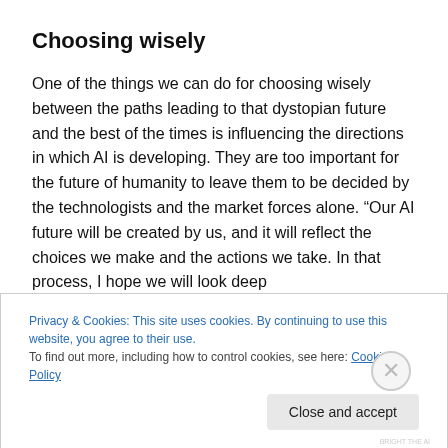Choosing wisely
One of the things we can do for choosing wisely between the paths leading to that dystopian future and the best of the times is influencing the directions in which AI is developing. They are too important for the future of humanity to leave them to be decided by the technologists and the market forces alone. “Our AI future will be created by us, and it will reflect the choices we make and the actions we take. In that process, I hope we will look deep
Privacy & Cookies: This site uses cookies. By continuing to use this website, you agree to their use.
To find out more, including how to control cookies, see here: Cookie Policy
Close and accept